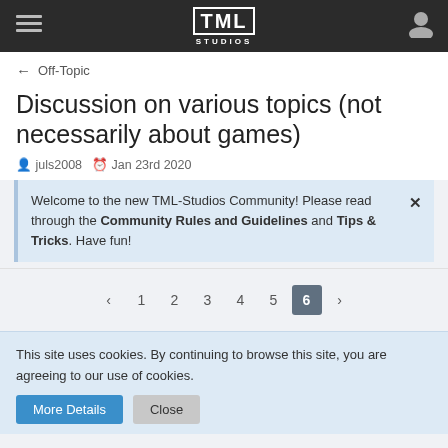TML STUDIOS
← Off-Topic
Discussion on various topics (not necessarily about games)
juls2008   Jan 23rd 2020
Welcome to the new TML-Studios Community! Please read through the Community Rules and Guidelines and Tips & Tricks. Have fun!
1 2 3 4 5 6
This site uses cookies. By continuing to browse this site, you are agreeing to our use of cookies.